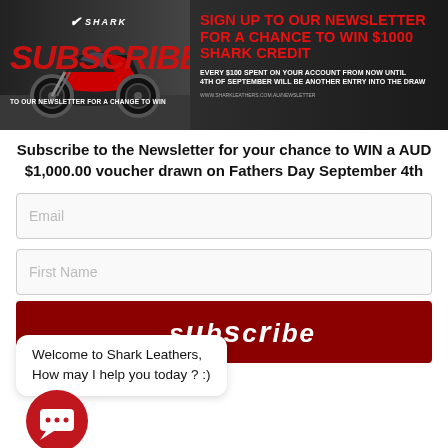[Figure (screenshot): Shark Leathers promotional banner showing a motorcycle, SHARK logo, SUBSCRIBE text in red, and offer to sign up to newsletter to win $1000 Shark Credit]
Subscribe to the Newsletter for your chance to WIN a AUD $1,000.00 voucher drawn on Fathers Day September 4th
Email
First Name
Welcome to Shark Leathers, How may I help you today ? :)
Subscribe